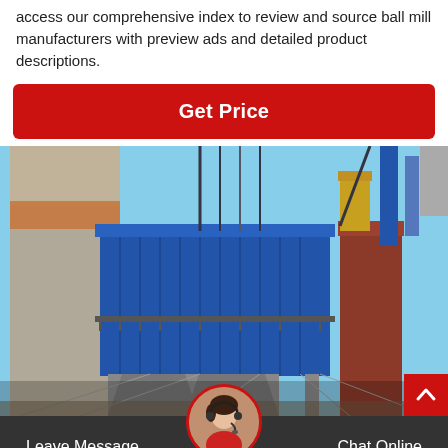access our comprehensive index to review and source ball mill manufacturers with preview ads and detailed product descriptions.
[Figure (other): Red 'Get Price' button with rounded corners on white background]
[Figure (photo): Industrial facility photo showing large blue dust collector/filter unit elevated on metal supports, with concrete silos and industrial chimneys/stacks in background, red/brown cylindrical stack on right side, blue sky visible]
[Figure (other): Dark footer bar with 'Leave Message' on the left, 'Chat Online' on the right, and a circular avatar photo of a woman with a headset in the center top area]